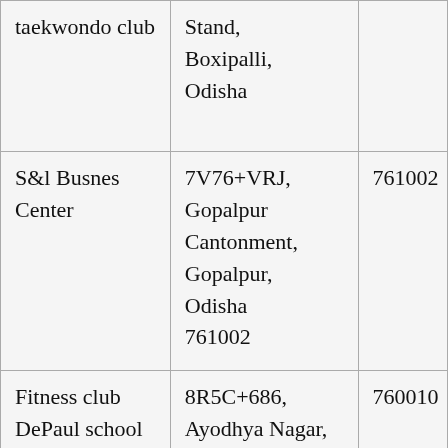| Name | Address | PIN |
| --- | --- | --- |
| taekwondo club | Stand, Boxipalli, Odisha |  |
| S&l Busnes Center | 7V76+VRJ, Gopalpur Cantonment, Gopalpur, Odisha 761002 | 761002 |
| Fitness club DePaul school | 8R5C+686, Ayodhya Nagar, Brahmapur, | 760010 |